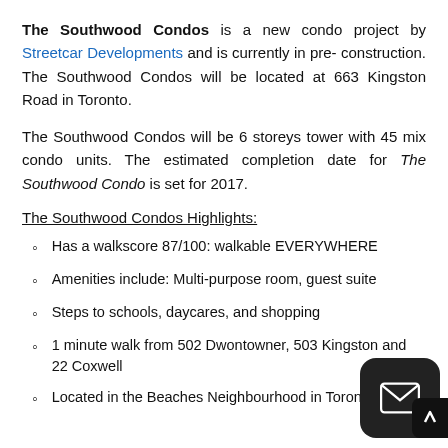The Southwood Condos is a new condo project by Streetcar Developments and is currently in pre- construction. The Southwood Condos will be located at 663 Kingston Road in Toronto.
The Southwood Condos will be 6 storeys tower with 45 mix condo units. The estimated completion date for The Southwood Condo is set for 2017.
The Southwood Condos Highlights:
Has a walkscore 87/100: walkable EVERYWHERE
Amenities include: Multi-purpose room, guest suite
Steps to schools, daycares, and shopping
1 minute walk from 502 Dwontowner, 503 Kingston and 22 Coxwell
Located in the Beaches Neighbourhood in Toronto